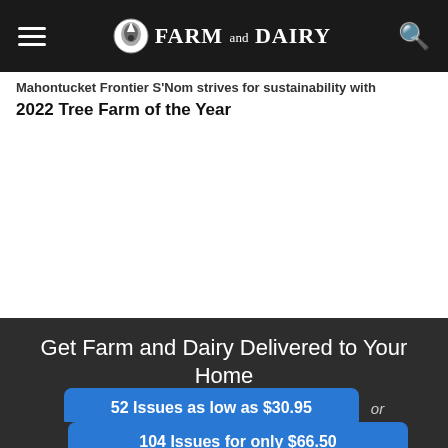Farm and Dairy
2022 Tree Farm of the Year
Get Farm and Dairy Delivered to Your Home
52 Issues as low as $30.95
104 Issues for only $66.50